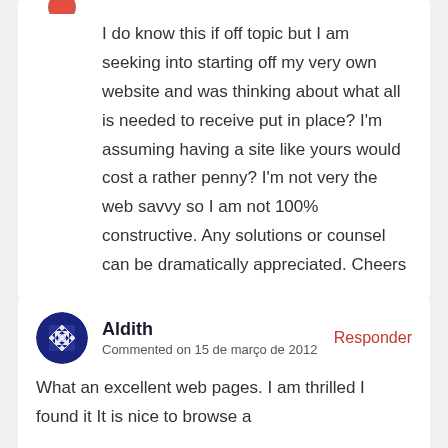I do know this if off topic but I am seeking into starting off my very own website and was thinking about what all is needed to receive put in place? I'm assuming having a site like yours would cost a rather penny? I'm not very the web savvy so I am not 100% constructive. Any solutions or counsel can be dramatically appreciated. Cheers
Aldith
Commented on 15 de março de 2012
Responder
What an excellent web pages. I am thrilled I found it It is nice to browse a